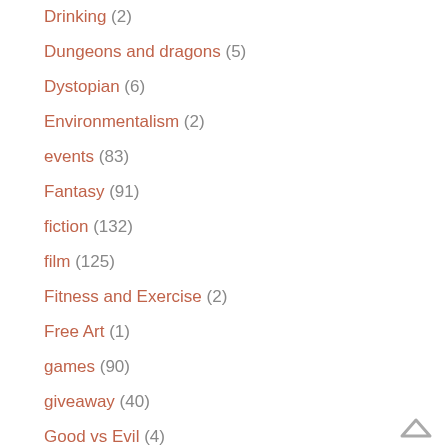Drinking (2)
Dungeons and dragons (5)
Dystopian (6)
Environmentalism (2)
events (83)
Fantasy (91)
fiction (132)
film (125)
Fitness and Exercise (2)
Free Art (1)
games (90)
giveaway (40)
Good vs Evil (4)
Great cocktails in Atlanta (1)
hobbies (19)
holidays (11)